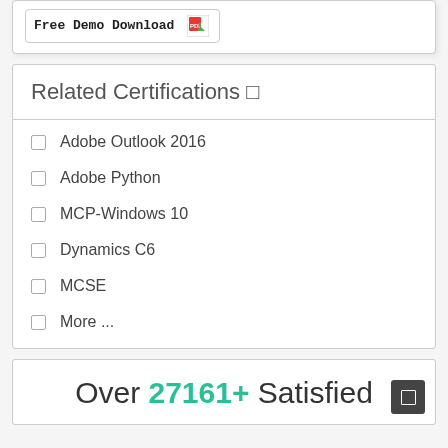[Figure (screenshot): Free Demo Download button with PDF icon]
Related Certifications
Adobe Outlook 2016
Adobe Python
MCP-Windows 10
Dynamics C6
MCSE
More ...
Over 27161+ Satisfied